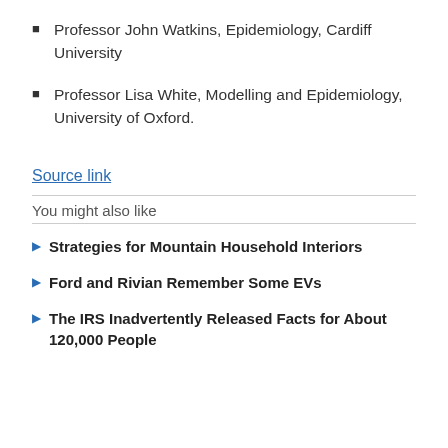Professor John Watkins, Epidemiology, Cardiff University
Professor Lisa White, Modelling and Epidemiology, University of Oxford.
Source link
You might also like
Strategies for Mountain Household Interiors
Ford and Rivian Remember Some EVs
The IRS Inadvertently Released Facts for About 120,000 People